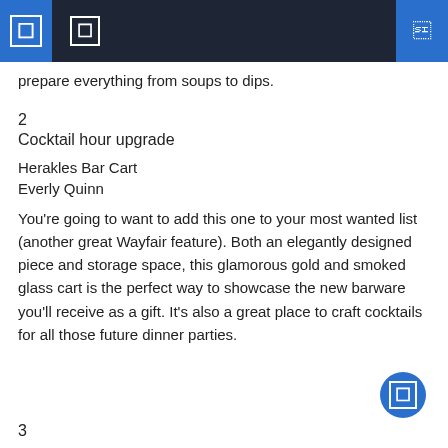prepare everything from soups to dips.
2
Cocktail hour upgrade
Herakles Bar Cart
Everly Quinn
You're going to want to add this one to your most wanted list (another great Wayfair feature). Both an elegantly designed piece and storage space, this glamorous gold and smoked glass cart is the perfect way to showcase the new barware you'll receive as a gift. It's also a great place to craft cocktails for all those future dinner parties.
3